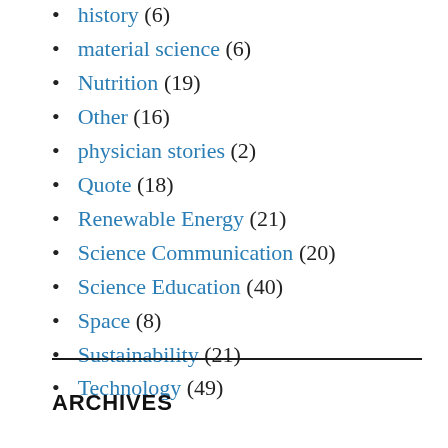history (6)
material science (6)
Nutrition (19)
Other (16)
physician stories (2)
Quote (18)
Renewable Energy (21)
Science Communication (20)
Science Education (40)
Space (8)
Sustainability (21)
Technology (49)
ARCHIVES